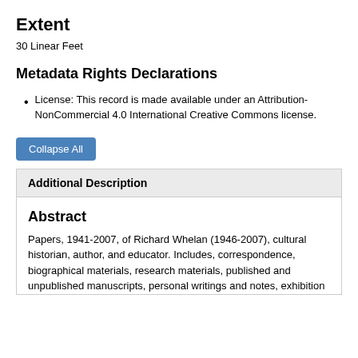Extent
30 Linear Feet
Metadata Rights Declarations
License: This record is made available under an Attribution-NonCommercial 4.0 International Creative Commons license.
Collapse All
Additional Description
Abstract
Papers, 1941-2007, of Richard Whelan (1946-2007), cultural historian, author, and educator. Includes, correspondence, biographical materials, research materials, published and unpublished manuscripts, personal writings and notes, exhibition